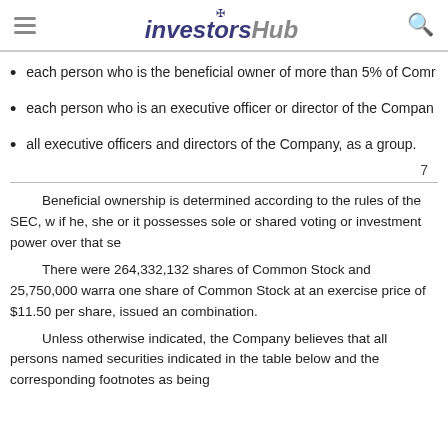investorshub
each person who is the beneficial owner of more than 5% of Comr
each person who is an executive officer or director of the Company
all executive officers and directors of the Company, as a group.
7
Beneficial ownership is determined according to the rules of the SEC, w if he, she or it possesses sole or shared voting or investment power over that se
There were 264,332,132 shares of Common Stock and 25,750,000 warra one share of Common Stock at an exercise price of $11.50 per share, issued an combination.
Unless otherwise indicated, the Company believes that all persons named securities indicated in the table below and the corresponding footnotes as being